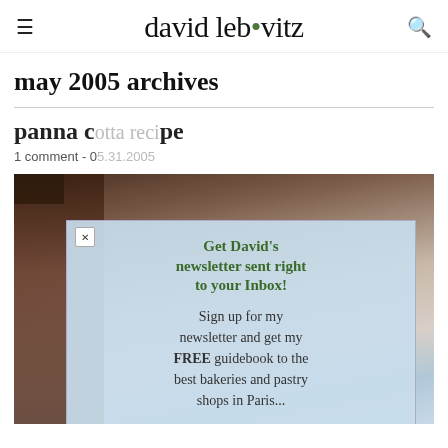david lebovitz
may 2005 archives
panna cotta recipe
1 comment - 05.31.2005
[Figure (screenshot): Newsletter signup popup overlay with green headline 'Get David's newsletter sent right to your Inbox!', body text about FREE guidebook to best bakeries and pastry shops in Paris, and a green 'Click HERE to subscribe' button. Behind it is a partially visible food photo.]